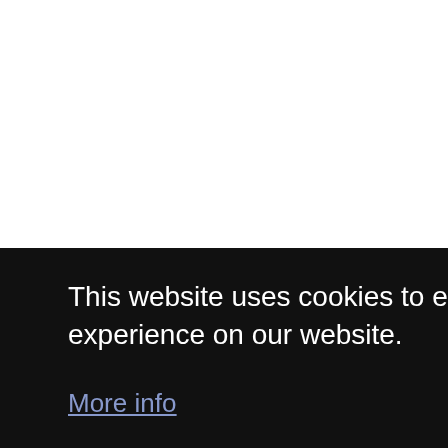This website uses cookies to ensure you get the best experience on our website.
More info
Got it!
Wear Spider Man Hat, Feel